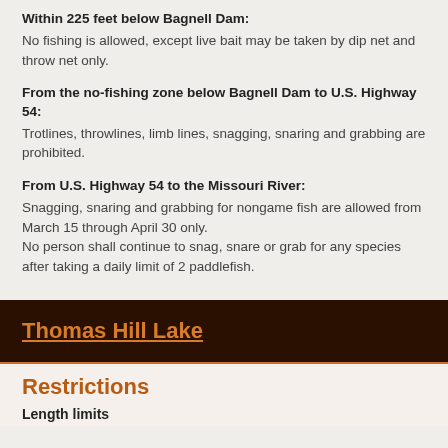Within 225 feet below Bagnell Dam: No fishing is allowed, except live bait may be taken by dip net and throw net only.
From the no-fishing zone below Bagnell Dam to U.S. Highway 54: Trotlines, throwlines, limb lines, snagging, snaring and grabbing are prohibited.
From U.S. Highway 54 to the Missouri River: Snagging, snaring and grabbing for nongame fish are allowed from March 15 through April 30 only. No person shall continue to snag, snare or grab for any species after taking a daily limit of 2 paddlefish.
Thomas Hill Lake
Restrictions
Length limits